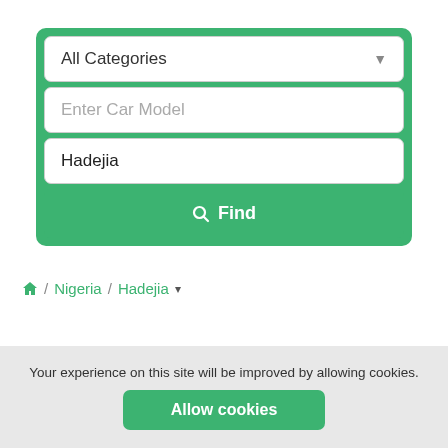[Figure (screenshot): Search form with dropdown 'All Categories', text input 'Enter Car Model', location input 'Hadejia', and a green 'Find' button]
/ Nigeria / Hadejia
Your experience on this site will be improved by allowing cookies.
Allow cookies